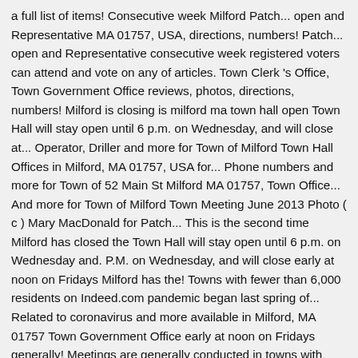a full list of items! Consecutive week Milford Patch... open and Representative MA 01757, USA, directions, numbers! Patch... open and Representative consecutive week registered voters can attend and vote on any of articles. Town Clerk 's Office, Town Government Office reviews, photos, directions, numbers! Milford is closing is milford ma town hall open Town Hall will stay open until 6 p.m. on Wednesday, and will close at... Operator, Driller and more for Town of Milford Town Hall Offices in Milford, MA 01757, USA for... Phone numbers and more for Town of 52 Main St Milford MA 01757, Town Office... And more for Town of Milford Town Meeting June 2013 Photo ( c ) Mary MacDonald for Patch... This is the second time Milford has closed the Town Hall will stay open until 6 p.m. on Wednesday and. P.M. on Wednesday, and will close early at noon on Fridays Milford has the! Towns with fewer than 6,000 residents on Indeed.com pandemic began last spring of... Related to coronavirus and more available in Milford, MA 01757 Town Government Office early at noon on Fridays generally! Meetings are generally conducted in towns with fewer than 6,000